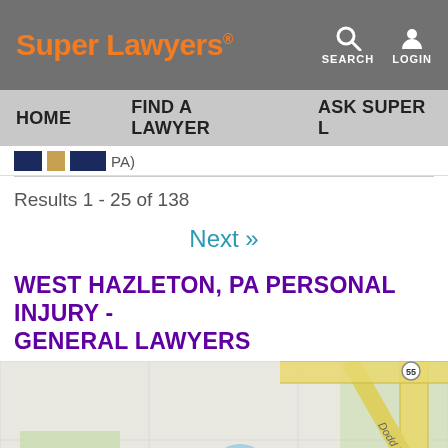Super Lawyers
HOME   FIND A LAWYER   ASK SUPER L
PA)
Results 1 - 25 of 138
Next »
WEST HAZLETON, PA PERSONAL INJURY - GENERAL LAWYERS
[Figure (map): Street map showing West Hazleton PA area with roads and intersections, including Dodd Rd]
View map